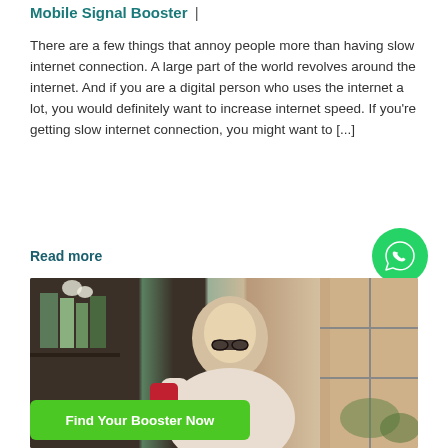Mobile Signal Booster |
There are a few things that annoy people more than having slow internet connection. A large part of the world revolves around the internet. And if you are a digital person who uses the internet a lot, you would definitely want to increase internet speed. If you're getting slow internet connection, you might want to [...]
Read more
[Figure (photo): WhatsApp contact button - green circular icon with phone/chat symbol]
[Figure (photo): A woman with glasses looking at a red smartphone, indoors with bookshelves and plants in background]
Find Your Booster Now